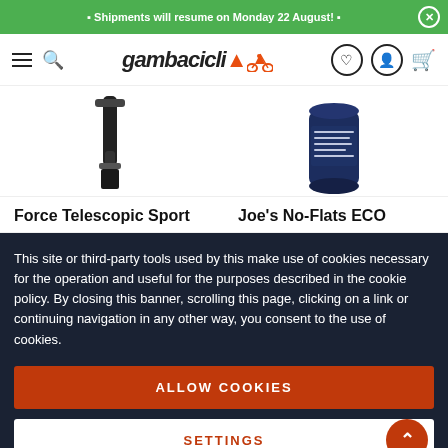Shipments will resume on Monday 22 August!
[Figure (logo): Gambacicli logo with bicycle rider icon in orange and black italic bold text]
[Figure (photo): Two product images partially visible: Force Telescopic Sport (black pump/tool) and Joe's No-Flats ECO (dark blue cylindrical container)]
Force Telescopic Sport
Joe's No-Flats ECO
This site or third-party tools used by this make use of cookies necessary for the operation and useful for the purposes described in the cookie policy. By closing this banner, scrolling this page, clicking on a link or continuing navigation in any other way, you consent to the use of cookies.
ALLOW COOKIES
SETTINGS